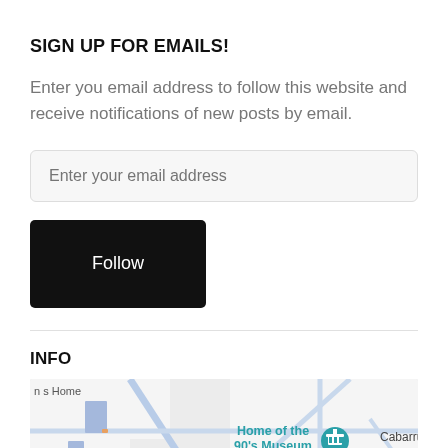SIGN UP FOR EMAILS!
Enter you email address to follow this website and receive notifications of new posts by email.
Enter your email address
Follow
INFO
[Figure (map): Partial map showing location labeled 'Home of the 90's Museum' with a map pin icon, near Cabarrus, with street layout visible. Also shows 'n s Home' label at top left.]